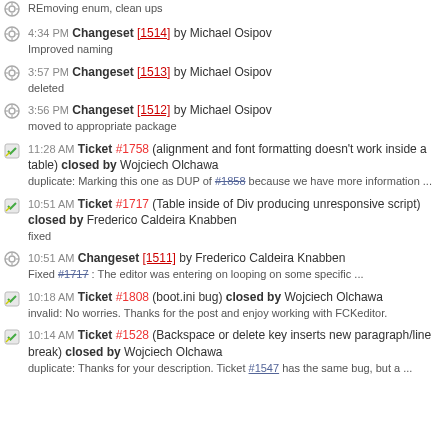4:34 PM Changeset [1514] by Michael Osipov
Improved naming
3:57 PM Changeset [1513] by Michael Osipov
deleted
3:56 PM Changeset [1512] by Michael Osipov
moved to appropriate package
11:28 AM Ticket #1758 (alignment and font formatting doesn't work inside a table) closed by Wojciech Olchawa
duplicate: Marking this one as DUP of #1858 because we have more information ...
10:51 AM Ticket #1717 (Table inside of Div producing unresponsive script) closed by Frederico Caldeira Knabben
fixed
10:51 AM Changeset [1511] by Frederico Caldeira Knabben
Fixed #1717 : The editor was entering on looping on some specific ...
10:18 AM Ticket #1808 (boot.ini bug) closed by Wojciech Olchawa
invalid: No worries. Thanks for the post and enjoy working with FCKeditor.
10:14 AM Ticket #1528 (Backspace or delete key inserts new paragraph/line break) closed by Wojciech Olchawa
duplicate: Thanks for your description. Ticket #1547 has the same bug, but a ...